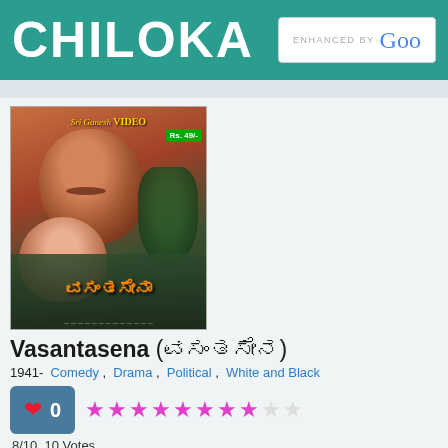CHILOKA
[Figure (photo): Movie poster for Vasantasena (Kannada film 1941) - Sri Ganesh Video release showing two actors and Kannada title text, priced Rs. 49/-]
Vasantasena (ವಸಂತಸೇನ)
1941-  Comedy ,  Drama ,  Political ,  White and Black
0
8/10, 10 Votes